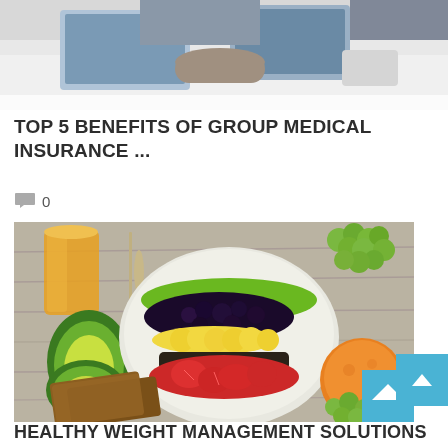[Figure (photo): Partial photo showing people at a table with laptops and a coffee cup, cropped at top]
TOP 5 BENEFITS OF GROUP MEDICAL INSURANCE ...
0 comments
[Figure (photo): Overhead photo of a healthy food spread: a bowl with kiwi, blackberries, banana, and strawberries, with avocado halves, orange juice, whole wheat bread, grapes, and an orange on a wooden table]
HEALTHY WEIGHT MANAGEMENT SOLUTIONS